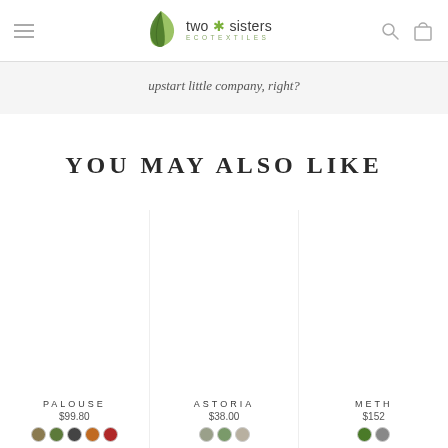Two Sisters Ecotextiles — navigation header with hamburger menu, logo, search and cart icons
upstart little company, right?
YOU MAY ALSO LIKE
PALOUSE $99.80
ASTORIA $38.00
METH $152